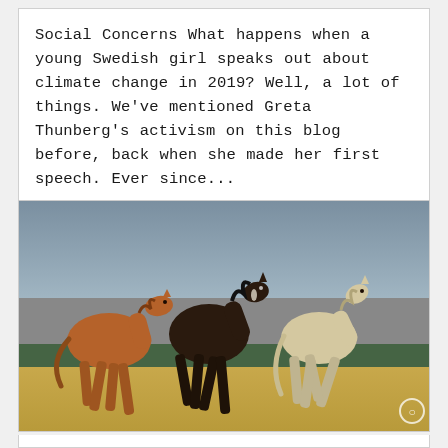Social Concerns What happens when a young Swedish girl speaks out about climate change in 2019? Well, a lot of things. We've mentioned Greta Thunberg's activism on this blog before, back when she made her first speech. Ever since...
[Figure (photo): Three horses running in an open field — a chestnut brown horse on the left, a dark brown/black horse in the center, and a light cream/white horse on the right. Background shows dry golden grass, a dark green treeline, and a grey-blue overcast sky. A small circular watermark logo appears in the bottom-right corner.]